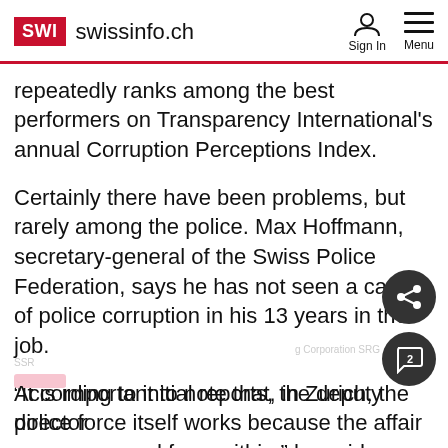SWI swissinfo.ch
repeatedly ranks among the best performers on Transparency International's annual Corruption Perceptions Index.
Certainly there have been problems, but rarely among the police. Max Hoffmann, secretary-general of the Swiss Police Federation, says he has not seen a case of police corruption in his 13 years in the job.
“It is important to note that, in Zurich, the police force itself works because the affair was uncovered from within,” he said.
According to initial reports, the deputy director